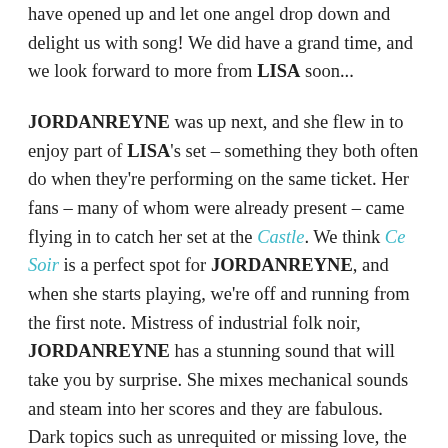have opened up and let one angel drop down and delight us with song! We did have a grand time, and we look forward to more from LISA soon...
JORDANREYNE was up next, and she flew in to enjoy part of LISA's set – something they both often do when they're performing on the same ticket. Her fans – many of whom were already present – came flying in to catch her set at the Castle. We think Ce Soir is a perfect spot for JORDANREYNE, and when she starts playing, we're off and running from the first note. Mistress of industrial folk noir, JORDANREYNE has a stunning sound that will take you by surprise. She mixes mechanical sounds and steam into her scores and they are fabulous. Dark topics such as unrequited or missing love, the oppression of the advancing world and the threatened loss of individuality, or the more menacing side of